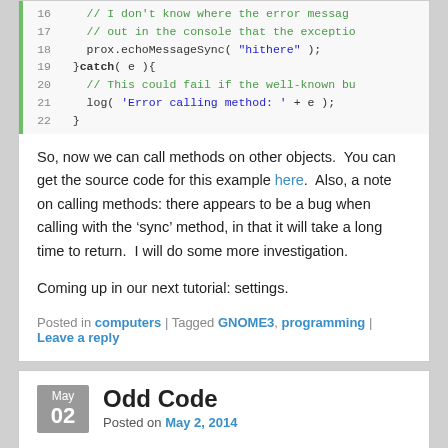[Figure (screenshot): Code snippet lines 16-22 showing JavaScript try/catch block with green comments and blue string literals]
So, now we can call methods on other objects.  You can get the source code for this example here.  Also, a note on calling methods: there appears to be a bug when calling with the ‘sync’ method, in that it will take a long time to return.  I will do some more investigation.
Coming up in our next tutorial: settings.
Posted in computers | Tagged GNOME3, programming | Leave a reply
Odd Code
Posted on May 2, 2014
I came across this odd piece of code today: